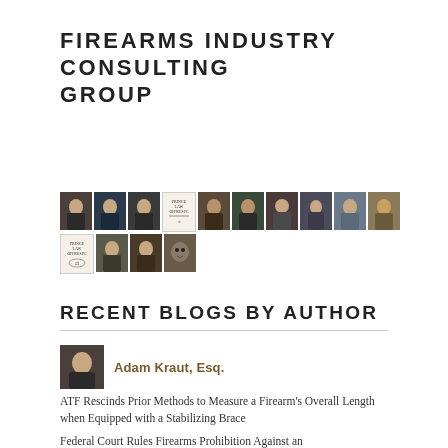FIREARMS INDUSTRY CONSULTING GROUP
[Figure (photo): Grid of author headshots and Prince Law Offices logos arranged in two rows]
RECENT BLOGS BY AUTHOR
[Figure (photo): Headshot of Adam Kraut, Esq.]
Adam Kraut, Esq.
ATF Rescinds Prior Methods to Measure a Firearm's Overall Length when Equipped with a Stabilizing Brace
Federal Court Rules Firearms Prohibition Against an